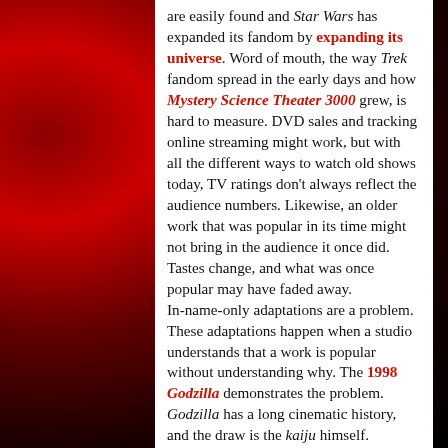are easily found and Star Wars has expanded its fandom by expanding its universe. Word of mouth, the way Trek fandom spread in the early days and how Mystery Science Theater 3000 grew, is hard to measure. DVD sales and tracking online streaming might work, but with all the different ways to watch old shows today, TV ratings don't always reflect the audience numbers. Likewise, an older work that was popular in its time might not bring in the audience it once did. Tastes change, and what was once popular may have faded away.
In-name-only adaptations are a problem. These adaptations happen when a studio understands that a work is popular without understanding why. The 1998 Godzilla demonstrates the problem. Godzilla has a long cinematic history, and the draw is the kaiju himself. Iterative changes to his appearance isn't a problem; a massive makeover is. The 1998 film could easily have been its own monster movie but needed the draw of the